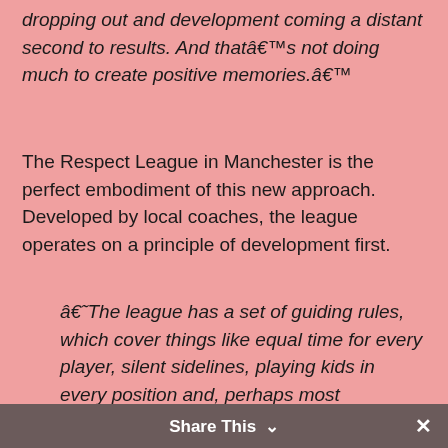dropping out and development coming a distant second to results. And thatâ€™s not doing much to create positive memories.â€™
The Respect League in Manchester is the perfect embodiment of this new approach. Developed by local coaches, the league operates on a principle of development first.
â€˜The league has a set of guiding rules, which cover things like equal time for every player, silent sidelines, playing kids in every position and, perhaps most importantly of all, mixed ability. Everything is about long term development and not about short term results. The Respect League is great because it gives you the perfect environment to just let the kids play and have fun, which is what football should be about at this ageâ€™ says Ben Hamilton, who coaches with
Share This